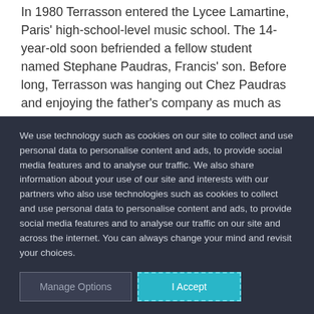In 1980 Terrasson entered the Lycee Lamartine, Paris' high-school-level music school. The 14-year-old soon befriended a fellow student named Stephane Paudras, Francis' son. Before long, Terrasson was hanging out Chez Paudras and enjoying the father's company as much as the son's.
We use technology such as cookies on our site to collect and use personal data to personalise content and ads, to provide social media features and to analyse our traffic. We also share information about your use of our site and interests with our partners who also use technologies such as cookies to collect and use personal data to personalise content and ads, to provide social media features and to analyse our traffic on our site and across the internet. You can always change your mind and revisit your choices.
Manage Options | I Accept